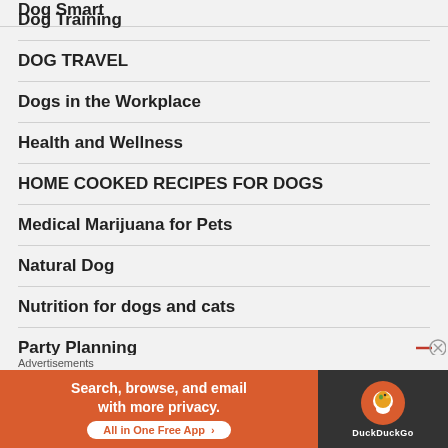Dog Smart
Dog Training
DOG TRAVEL
Dogs in the Workplace
Health and Wellness
HOME COOKED RECIPES FOR DOGS
Medical Marijuana for Pets
Natural Dog
Nutrition for dogs and cats
Party Planning
Advertisements
[Figure (other): DuckDuckGo advertisement banner: orange left side with text 'Search, browse, and email with more privacy. All in One Free App' and dark right side with DuckDuckGo logo]